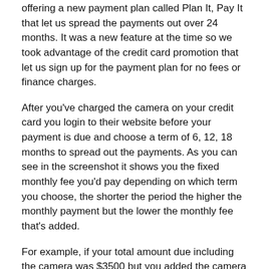offering a new payment plan called Plan It, Pay It that let us spread the payments out over 24 months. It was a new feature at the time so we took advantage of the credit card promotion that let us sign up for the payment plan for no fees or finance charges.
After you've charged the camera on your credit card you login to their website before your payment is due and choose a term of 6, 12, 18 months to spread out the payments. As you can see in the screenshot it shows you the fixed monthly fee you'd pay depending on which term you choose, the shorter the period the higher the monthly payment but the lower the monthly fee that's added.
For example, if your total amount due including the camera was $3500 but you added the camera purchase of $2500 into their Plan It program your bill would look like this. They include the monthly fee in your Minimum Payment:
Total Balance – $3500
Plan Balance – $2500
Non-Plan Balance = $1000